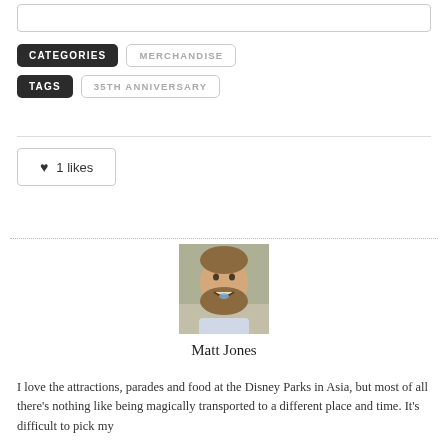[search bar]
CATEGORIES  MERCHANDISE
TAGS  35TH ANNIVERSARY
♥ 1 likes
[Figure (photo): Profile photo of Matt Jones, a man with a beard smiling with something in his mouth, outdoors]
Matt Jones
I love the attractions, parades and food at the Disney Parks in Asia, but most of all there's nothing like being magically transported to a different place and time. It's difficult to pick my